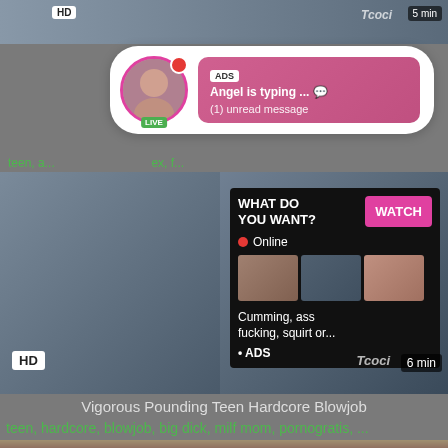[Figure (screenshot): Top video thumbnail strip with HD badge, watermark 'Tcoci', and 5 min duration label]
[Figure (screenshot): Advertisement popup showing a live webcam model notification: ADS label, 'Angel is typing ... [emoji]', '(1) unread message', avatar with LIVE badge]
teen, ... ex, f...
[Figure (screenshot): Main video thumbnail showing explicit content with embedded ad overlay: 'WHAT DO YOU WANT?' with WATCH button, Online indicator, thumbnail grid, 'Cumming, ass fucking, squirt or...', '• ADS'. HD badge, Tcoci watermark, 6 min duration.]
Vigorous Pounding Teen Hardcore Blowjob
teen, hardcore, blowjob, big dick, milf mom, pornogratis, ...
[Figure (screenshot): Bottom video thumbnail strip showing partial view of blonde figure]